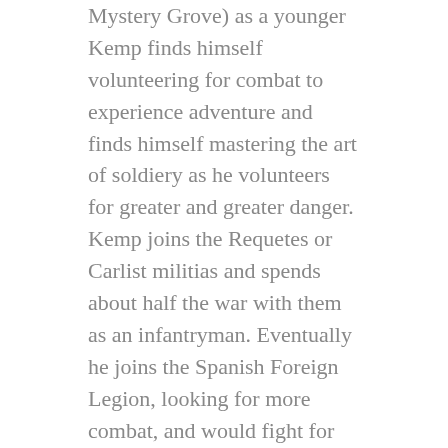Mystery Grove) as a younger Kemp finds himself volunteering for combat to experience adventure and finds himself mastering the art of soldiery as he volunteers for greater and greater danger. Kemp joins the Requetes or Carlist militias and spends about half the war with them as an infantryman. Eventually he joins the Spanish Foreign Legion, looking for more combat, and would fight for the remainder of the war with them. I will not bring up any standout moments, but those who enjoyed Junger will find Kemp's account just as enjoyable.
Ultimately however, the most fascinating thing about Kemp's account to me was how much the Nationalist Spaniards he interacted with wished that foreign powers and people had kept themselves out of a Spanish affair altogether. While we may now view the